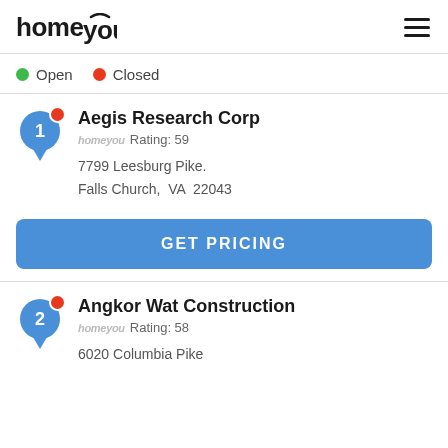homeyou
Open   Closed
Aegis Research Corp
homeyou Rating: 59
7799 Leesburg Pike.
Falls Church,  VA  22043
GET PRICING
Angkor Wat Construction
homeyou Rating: 58
6020 Columbia Pike